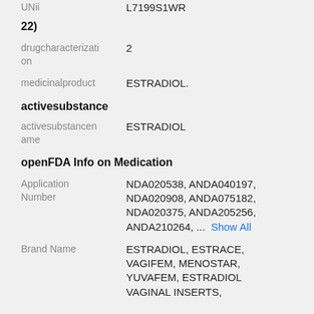UNI  L7199S1WR
22)
drugcharacterization  2
medicinalproduct  ESTRADIOL.
activesubstance
activesubstancename  ESTRADIOL
openFDA Info on Medication
Application Number  NDA020538, ANDA040197, NDA020908, ANDA075182, NDA020375, ANDA205256, ANDA210264, ...  Show All
Brand Name  ESTRADIOL, ESTRACE, VAGIFEM, MENOSTAR, YUVAFEM, ESTRADIOL VAGINAL INSERTS,